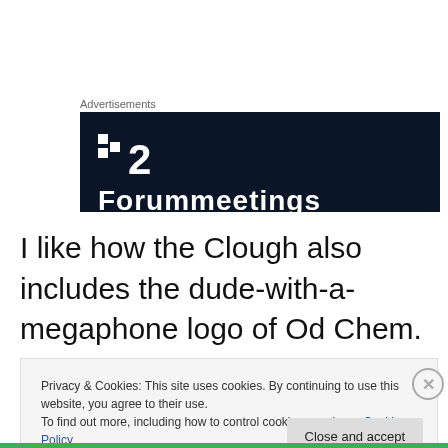Advertisements
[Figure (logo): Dark navy/black advertisement banner with white logo showing two small squares and the number 2, with partial white text at the bottom reading 'Forummeetings' or similar]
I like how the Clough also includes the dude-with-a-megaphone logo of Od Chem. Co, with the advertisment.
Privacy & Cookies: This site uses cookies. By continuing to use this website, you agree to their use.
To find out more, including how to control cookies, see here: Cookie Policy